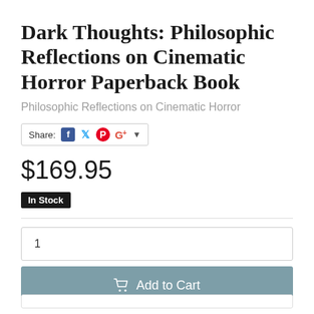Dark Thoughts: Philosophic Reflections on Cinematic Horror Paperback Book
Philosophic Reflections on Cinematic Horror
Share:
$169.95
In Stock
1
Add to Cart